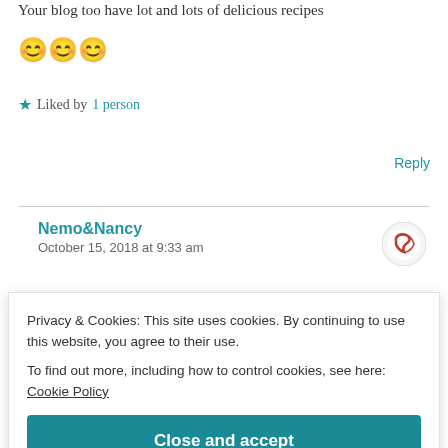Your blog too have lot and lots of delicious recipes 😊😊😊
★ Liked by 1 person
Reply
Nemo&Nancy
October 15, 2018 at 9:33 am
[Figure (logo): Circular logo with red swirl design on white background]
Thank u so much! We are really really happy that u
Privacy & Cookies: This site uses cookies. By continuing to use this website, you agree to their use.
To find out more, including how to control cookies, see here: Cookie Policy
Close and accept
October 15, 2018 at 9:58 am